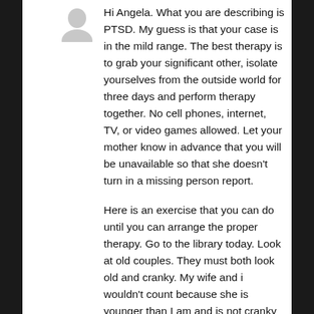[Figure (illustration): Gray placeholder avatar icon (person silhouette) in the top-left area]
Hi Angela. What you are describing is PTSD. My guess is that your case is in the mild range. The best therapy is to grab your significant other, isolate yourselves from the outside world for three days and perform therapy together. No cell phones, internet, TV, or video games allowed. Let your mother know in advance that you will be unavailable so that she doesn't turn in a missing person report.
Here is an exercise that you can do until you can arrange the proper therapy. Go to the library today. Look at old couples. They must both look old and cranky. My wife and i wouldn't count because she is younger than I am and is not cranky at all. Each time you recognize a suitable couple look at them discreetly and in your mind superimpose an